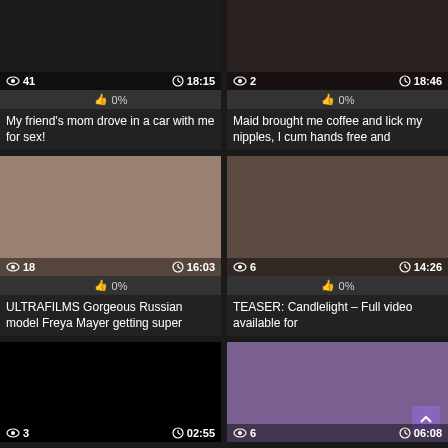[Figure (screenshot): Video thumbnail top-left, dark image, views: 41, duration: 18:15, rating: 0%]
My friend's mom drove in a car with me for sex!
[Figure (screenshot): Video thumbnail top-right, dark image, views: 2, duration: 18:46, rating: 0%]
Maid brought me coffee and lick my nipples, I cum hands free and
[Figure (screenshot): Video thumbnail middle-left, blonde model, views: 18, duration: 16:03, rating: 0%]
ULTRAFILMS Gorgeous Russian model Freya Mayer getting super
[Figure (screenshot): Video thumbnail middle-right, intimate scene, views: 6, duration: 14:26, rating: 0%]
TEASER: Candlelight – Full video available for
[Figure (screenshot): Video thumbnail bottom-left, black screen, views: 3, duration: 02:55]
[Figure (screenshot): Video thumbnail bottom-right, animated character, views: 6, duration: 06:08]